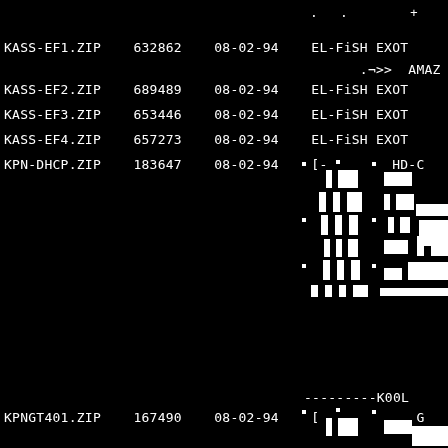.       .        +
KASS-EF1.ZIP    632862    08-02-94    EL-FiSH EXOT
                                              .¬>>  AMAZ
KASS-EF2.ZIP    689489    08-02-94    EL-FiSH EXOT
KASS-EF3.ZIP    653446    08-02-94    EL-FiSH EXOT
KASS-EF4.ZIP    657273    08-02-94    EL-FiSH EXOT
KPN-DHCP.ZIP    183647    08-02-94    [-        HD-C
[Figure (illustration): ASCII/pixel art graphic block showing white rectangular pixel shapes on black background, appearing twice on the page - once in the middle section and once in the lower section]
---------K00L
KPNGT401.ZIP    167490    08-02-94    [-           G